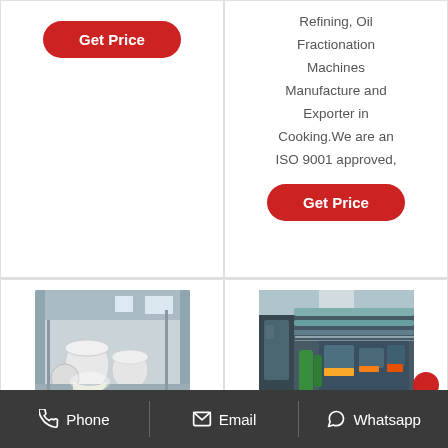[Figure (other): Red 'Get Price' button (top left card)]
Refining, Oil Fractionation Machines Manufacture and Exporter in Cooking. We are an ISO 9001 approved,
[Figure (other): Red 'Get Price' button (right card)]
[Figure (photo): Factory interior with large white tanks/containers on floor]
[Figure (photo): Factory interior with industrial machinery and pipelines]
Phone   Email   Whatsapp